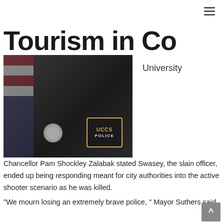Tourism in Co
University
[Figure (photo): Police officer in black uniform with UCCS Police patch and badge, American flag in background]
Chancellor Pam Shockley Zalabak stated Swasey, the slain officer, ended up being responding meant for city authorities into the active shooter scenario as he was killed.
"We mourn losing an extremely brave police, " Mayor Suthers said.